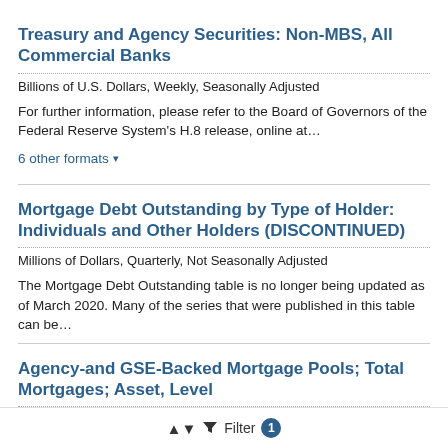Treasury and Agency Securities: Non-MBS, All Commercial Banks
Billions of U.S. Dollars, Weekly, Seasonally Adjusted
For further information, please refer to the Board of Governors of the Federal Reserve System's H.8 release, online at…
6 other formats ▾
Mortgage Debt Outstanding by Type of Holder: Individuals and Other Holders (DISCONTINUED)
Millions of Dollars, Quarterly, Not Seasonally Adjusted
The Mortgage Debt Outstanding table is no longer being updated as of March 2020. Many of the series that were published in this table can be…
Agency-and GSE-Backed Mortgage Pools; Total Mortgages; Asset, Level
Millions of Dollars, Quarterly, Not Seasonally Adjusted
Filter 1